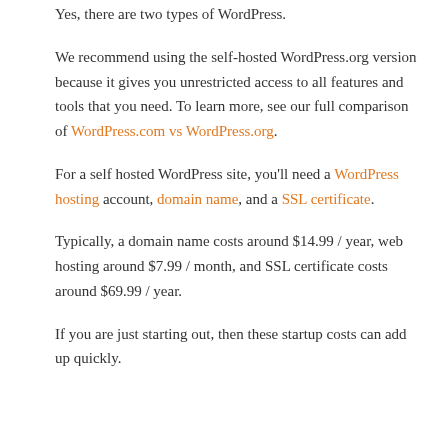Yes, there are two types of WordPress.
We recommend using the self-hosted WordPress.org version because it gives you unrestricted access to all features and tools that you need. To learn more, see our full comparison of WordPress.com vs WordPress.org.
For a self hosted WordPress site, you'll need a WordPress hosting account, domain name, and a SSL certificate.
Typically, a domain name costs around $14.99 / year, web hosting around $7.99 / month, and SSL certificate costs around $69.99 / year.
If you are just starting out, then these startup costs can add up quickly.